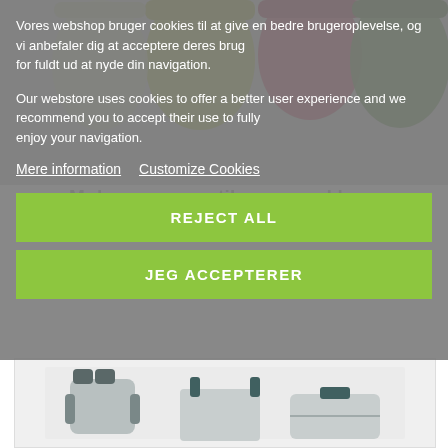[Figure (photo): Colorful drawstring gym bags product photo at top of page, partially visible behind cookie consent banner]
Mule- og gymnstikpose med logo
25,29 Dkr
Vores webshop bruger cookies til at give en bedre brugeroplevelse, og vi anbefaler dig at acceptere deres brug
for fuldt ud at nyde din navigation.
Our webstore uses cookies to offer a better user experience and we recommend you to accept their use to fully
enjoy your navigation.
Mere information   Customize Cookies
REJECT ALL
JEG ACCEPTERER
[Figure (photo): Gray and dark green bags product photo - backpack, tote bag, and briefcase visible at bottom of page]